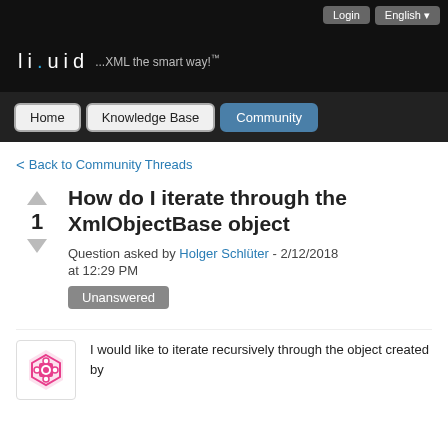liquid ...XML the smart way!™ | Login | English
Home | Knowledge Base | Community
< Back to Community Threads
How do I iterate through the XmlObjectBase object
Question asked by Holger Schlüter - 2/12/2018 at 12:29 PM
Unanswered
I would like to iterate recursively through the object created by